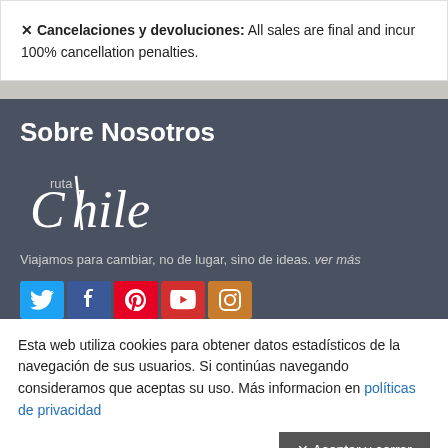✕ Cancelaciones y devoluciones: All sales are final and incur 100% cancellation penalties.
Sobre Nosotros
[Figure (logo): Ruta Chile logo in white script/handwritten style on dark background]
Viajamos para cambiar, no de lugar, sino de ideas. ver más
[Figure (infographic): Row of social media icons: Twitter (blue), Facebook (dark blue), Pinterest (red), YouTube (red), Instagram (orange-brown)]
Esta web utiliza cookies para obtener datos estadísticos de la navegación de sus usuarios. Si continúas navegando consideramos que aceptas su uso. Más informacion en políticas de privacidad
✕ Aceptar y cerrar